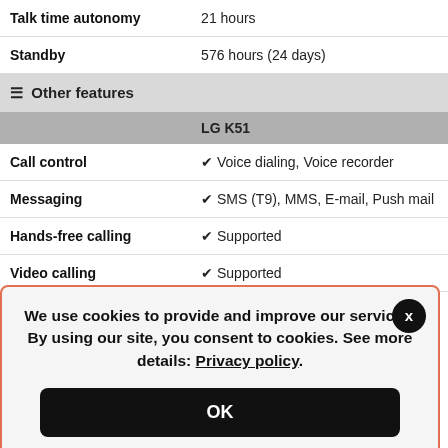|  | LG K51 |
| --- | --- |
| Talk time autonomy | 21 hours |
| Standby | 576 hours (24 days) |
| ☰ Other features |  |
|  | LG K51 |
| Call control | ✔ Voice dialing, Voice recorder |
| Messaging | ✔ SMS (T9), MMS, E-mail, Push mail |
| Hands-free calling | ✔ Supported |
| Video calling | ✔ Supported |
| Ringtones | ✔ Polyphonic and customized |
We use cookies to provide and improve our services. By using our site, you consent to cookies. See more details: Privacy policy.
OK